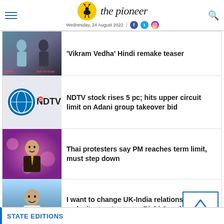the pioneer — Wednesday, 24 August 2022
'Vikram Vedha' Hindi remake teaser
NDTV stock rises 5 pc; hits upper circuit limit on Adani group takeover bid
Thai protesters say PM reaches term limit, must step down
I want to change UK-India relationship to make it more two way: Rishi Sunak
STATE EDITIONS